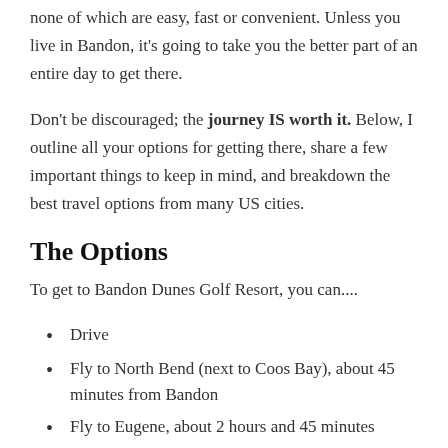...there are four ways you can get to Bandon Dunes, none of which are easy, fast or convenient. Unless you live in Bandon, it's going to take you the better part of an entire day to get there.
Don't be discouraged; the journey IS worth it. Below, I outline all your options for getting there, share a few important things to keep in mind, and breakdown the best travel options from many US cities.
The Options
To get to Bandon Dunes Golf Resort, you can....
Drive
Fly to North Bend (next to Coos Bay), about 45 minutes from Bandon
Fly to Eugene, about 2 hours and 45 minutes from Bandon